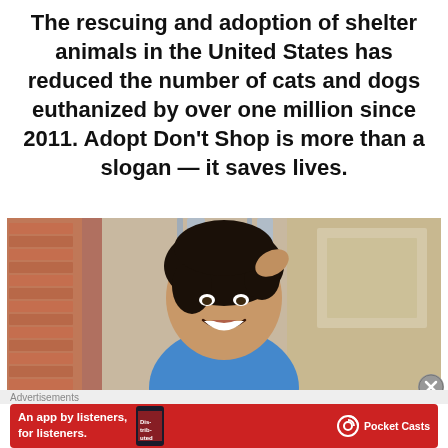The rescuing and adoption of shelter animals in the United States has reduced the number of cats and dogs euthanized by over one million since 2011. Adopt Don't Shop is more than a slogan — it saves lives.
[Figure (photo): Young smiling man with dark curly hair, wearing a blue t-shirt, hand behind his head, against a brick wall and industrial background]
Advertisements
[Figure (other): Red advertisement banner: An app by listeners, for listeners. Pocket Casts logo with phone graphic showing 'Distributed' book/app cover]